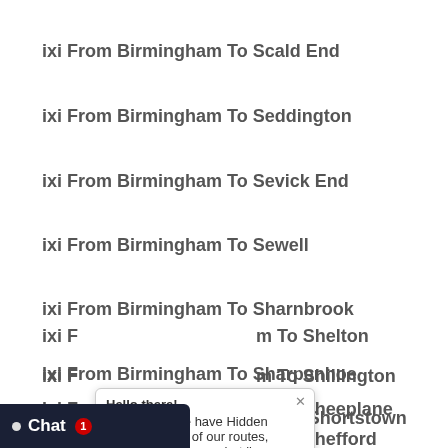ixi From Birmingham To Scald End
ixi From Birmingham To Seddington
ixi From Birmingham To Sevick End
ixi From Birmingham To Sewell
ixi From Birmingham To Sharnbrook
ixi From Birmingham To Sharpenhoe
ixi From Birmingham To Sheeplane
ixi From Birmingham To Shefford
ixi From Birmingham To Shelton
ixi From Birmingham To Shillington
ixi From Birmingham To Shortstown